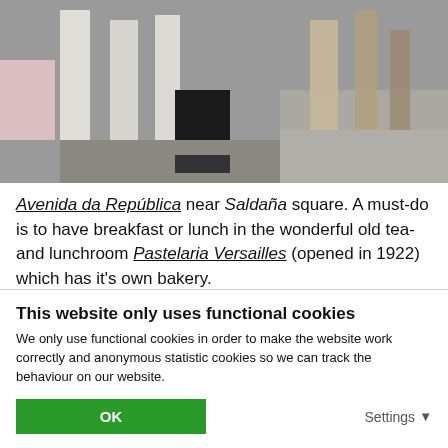[Figure (photo): Street photo showing columns and people walking on cobblestone pavement, top portion visible]
Avenida da República near Saldaña square. A must-do is to have breakfast or lunch in the wonderful old tea- and lunchroom Pastelaria Versailles (opened in 1922) which has it's own bakery.
[Figure (photo): Photo of a statue with raised arm against a blue sky, bottom portion partially visible]
This website only uses functional cookies
We only use functional cookies in order to make the website work correctly and anonymous statistic cookies so we can track the behaviour on our website.
OK
Settings